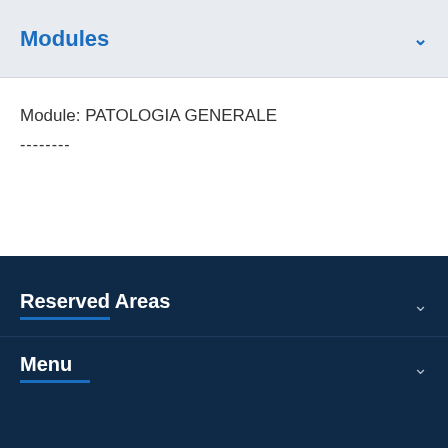Modules
Module: PATOLOGIA GENERALE
--------
Reserved Areas
Menu
[Figure (screenshot): Bottom navigation bar with accessibility button, InfoChat Studenti button, and scroll-to-top button]